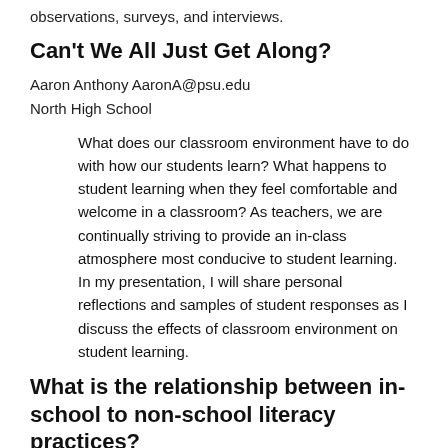observations, surveys, and interviews.
Can't We All Just Get Along?
Aaron Anthony AaronA@psu.edu
North High School
What does our classroom environment have to do with how our students learn? What happens to student learning when they feel comfortable and welcome in a classroom? As teachers, we are continually striving to provide an in-class atmosphere most conducive to student learning. In my presentation, I will share personal reflections and samples of student responses as I discuss the effects of classroom environment on student learning.
What is the relationship between in-school to non-school literacy practices?